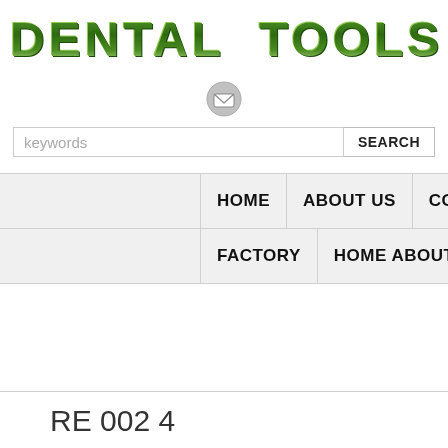DENTAL TOOLS
[Figure (illustration): Email envelope icon, circular gray button]
[Figure (other): Search bar with keywords placeholder and SEARCH button]
HOME   ABOUT US   CONTACT US
FACTORY   HOME ABOUT
RE 002 4